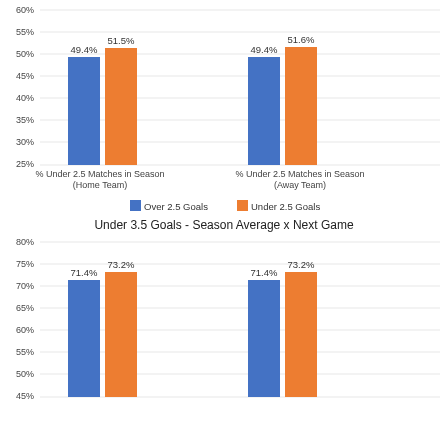[Figure (grouped-bar-chart): ]
[Figure (grouped-bar-chart): Under 3.5 Goals - Season Average x Next Game]